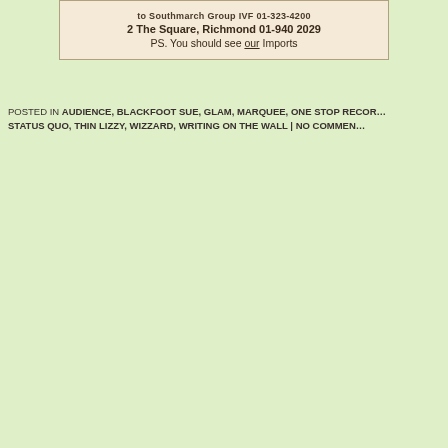[Figure (other): Scanned/printed advertisement or flyer snippet showing address: 2 The Square, Richmond 01-940 2029 and text 'PS. You should see our Imports']
POSTED IN AUDIENCE, BLACKFOOT SUE, GLAM, MARQUEE, ONE STOP RECORDS, STATUS QUO, THIN LIZZY, WIZZARD, WRITING ON THE WALL | NO COMMENTS